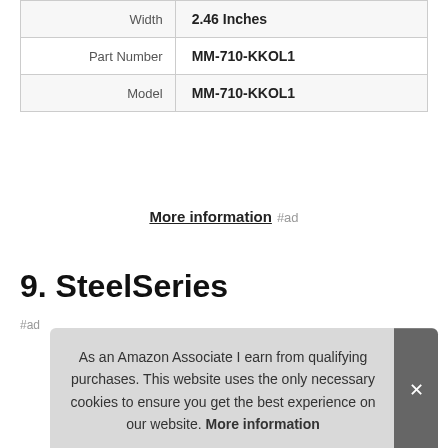| Attribute | Value |
| --- | --- |
| Width | 2.46 Inches |
| Part Number | MM-710-KKOL1 |
| Model | MM-710-KKOL1 |
More information #ad
9. SteelSeries
#ad
As an Amazon Associate I earn from qualifying purchases. This website uses the only necessary cookies to ensure you get the best experience on our website. More information